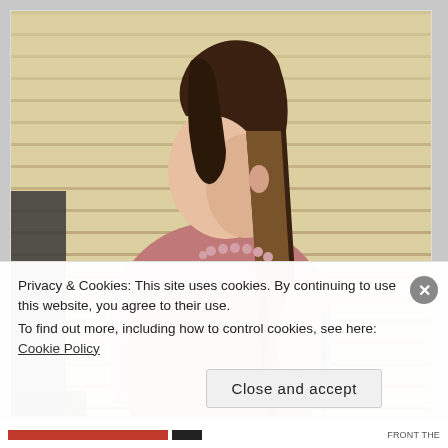[Figure (photo): A woman with long straight ombre hair (dark roots fading to blonde) wearing a pink top and pink beaded necklace, standing in front of wooden siding, viewed from the side/back angle.]
Privacy & Cookies: This site uses cookies. By continuing to use this website, you agree to their use.
To find out more, including how to control cookies, see here: Cookie Policy
Close and accept